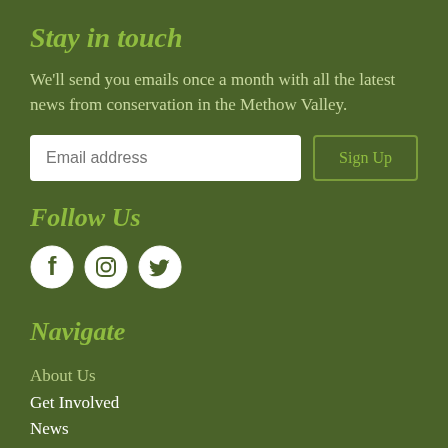Stay in touch
We'll send you emails once a month with all the latest news from conservation in the Methow Valley.
[Figure (screenshot): Email address input field and Sign Up button]
Follow Us
[Figure (infographic): Social media icons: Facebook, Instagram, Twitter]
Navigate
About Us
Get Involved
News
Events
Resources
Donate